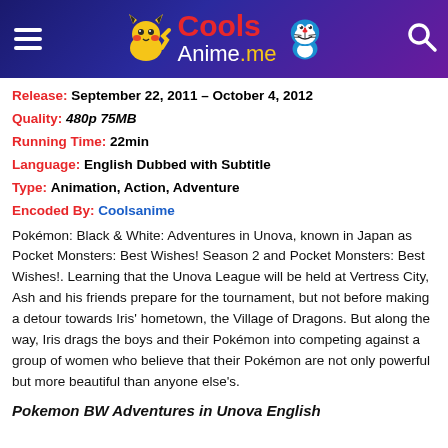[Figure (logo): CoolsAnime.me website header with Pikachu mascot, Doraemon mascot, hamburger menu icon, and search icon on dark blue-purple gradient background]
Release: September 22, 2011 – October 4, 2012
Quality: 480p 75MB
Running Time: 22min
Language: English Dubbed with Subtitle
Type: Animation, Action, Adventure
Encoded By: Coolsanime
Pokémon: Black & White: Adventures in Unova, known in Japan as Pocket Monsters: Best Wishes! Season 2 and Pocket Monsters: Best Wishes!. Learning that the Unova League will be held at Vertress City, Ash and his friends prepare for the tournament, but not before making a detour towards Iris' hometown, the Village of Dragons. But along the way, Iris drags the boys and their Pokémon into competing against a group of women who believe that their Pokémon are not only powerful but more beautiful than anyone else's.
Pokemon BW Adventures in Unova English